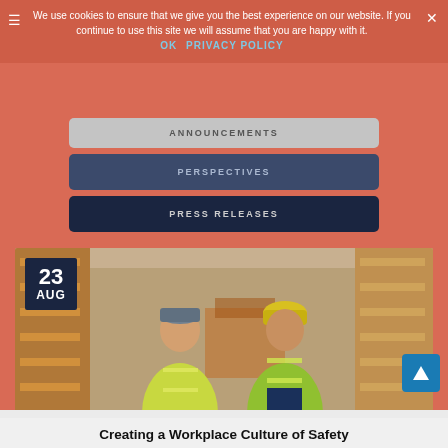We use cookies to ensure that we give you the best experience on our website. If you continue to use this site we will assume that you are happy with it.
OK  PRIVACY POLICY
ANNOUNCEMENTS
PERSPECTIVES
PRESS RELEASES
[Figure (photo): Two warehouse workers in yellow high-visibility vests and hard hat standing in a warehouse with shelving racks in the background. Date badge shows 23 AUG.]
Creating a Workplace Culture of Safety